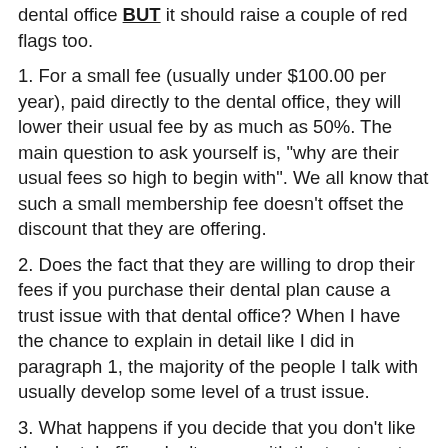dental office BUT it should raise a couple of red flags too.
1. For a small fee (usually under $100.00 per year), paid directly to the dental office, they will lower their usual fee by as much as 50%. The main question to ask yourself is, "why are their usual fees so high to begin with". We all know that such a small membership fee doesn't offset the discount that they are offering.
2. Does the fact that they are willing to drop their fees if you purchase their dental plan cause a trust issue with that dental office? When I have the chance to explain in detail like I did in paragraph 1, the majority of the people I talk with usually develop some level of a trust issue.
3. What happens if you decide that you don't like the dental office, don't agree with the treatment plan or move too far away making it almost impossible to continue to go to that dental office. Is another dental office going to accept the plan that you purchased? I can say with 99.9% accuracy the answer is NO!! You are now stuck with a dental plan that you can only use at one office or a mega office (a series of